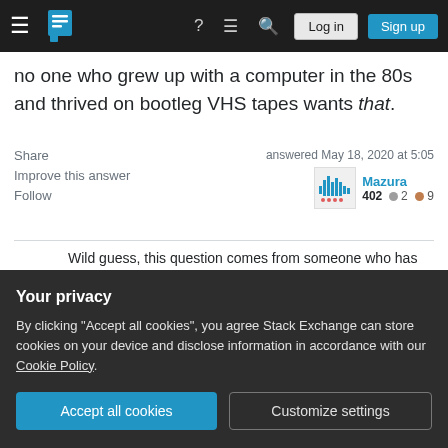Stack Exchange navigation bar with hamburger menu, logo, help, chat, search, Log in, Sign up buttons
no one who grew up with a computer in the 80s and thrived on bootleg VHS tapes wants that.
Share | Improve this answer | Follow
answered May 18, 2020 at 5:05 | Mazura | 402 ● 2 ● 9
Wild guess, this question comes from someone who has only lived in an age where unbeknownst to them, an Xbox or PS game comes on a physical disk solely for the purpose of DRM, and why you have to install the game on what is actually a computer is because optical media still sucks... – Mazura May 18, 2020 at
Your privacy
By clicking "Accept all cookies", you agree Stack Exchange can store cookies on your device and disclose information in accordance with our Cookie Policy.
Accept all cookies | Customize settings